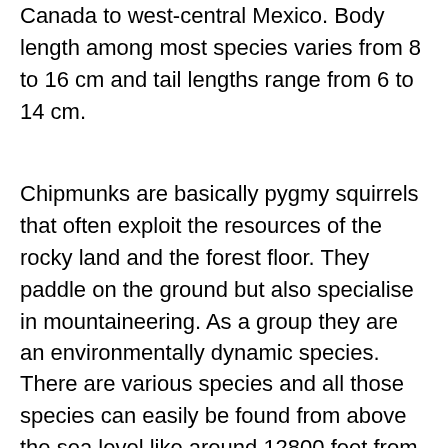Canada to west-central Mexico. Body length among most species varies from 8 to 16 cm and tail lengths range from 6 to 14 cm.
Chipmunks are basically pygmy squirrels that often exploit the resources of the rocky land and the forest floor. They paddle on the ground but also specialise in mountaineering. As a group they are an environmentally dynamic species.
There are various species and all those species can easily be found from above the sea level like around 12800 feet from sea level along with cliffs, boulders and big rocks. They live in a wide variety of forests, from the timberline slopes and alpine rivers along the rocky slopes to deforested forests